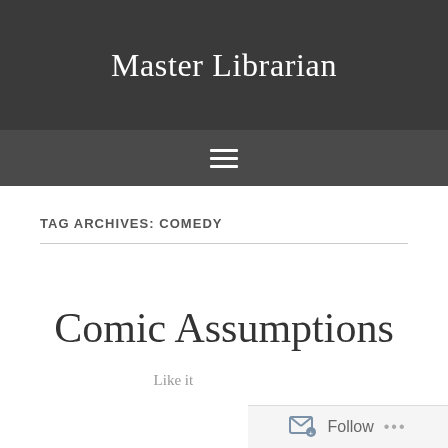Master Librarian
TAG ARCHIVES: COMEDY
Comic Assumptions
Like it...